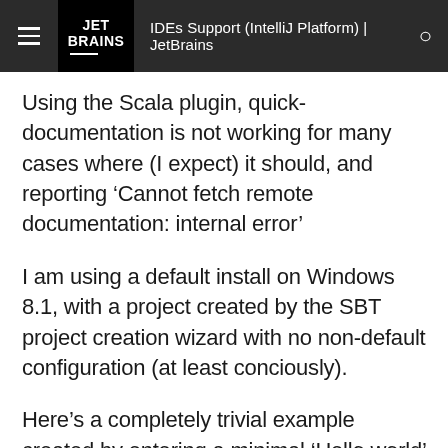IDEs Support (IntelliJ Platform) | JetBrains
Using the Scala plugin, quick-documentation is not working for many cases where (I expect) it should, and reporting ‘Cannot fetch remote documentation: internal error’
I am using a default install on Windows 8.1, with a project created by the SBT project creation wizard with no non-default configuration (at least conciously).
Here’s a completely trivial example created by entering a minimal ‘Hello world’ app object into the empty project framework created by the Scala plugin project